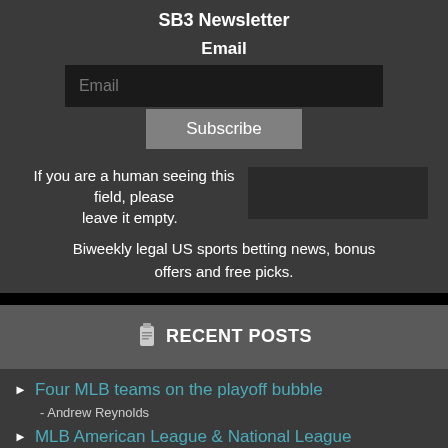SB3 Newsletter
Email
Email (input placeholder)
Subscribe
If you are a human seeing this field, please leave it empty.
Biweekly legal US sports betting news, bonus offers and free picks.
RECENT POSTS
Four MLB teams on the playoff bubble - Andrew Reynolds
MLB American League & National League